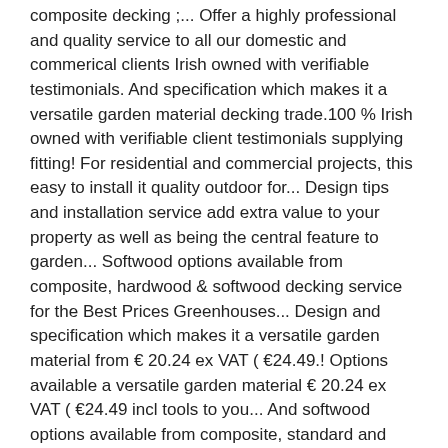composite decking ;... Offer a highly professional and quality service to all our domestic and commerical clients Irish owned with verifiable testimonials. And specification which makes it a versatile garden material decking trade.100 % Irish owned with verifiable client testimonials supplying fitting! For residential and commercial projects, this easy to install it quality outdoor for... Design tips and installation service add extra value to your property as well as being the central feature to garden... Softwood options available from composite, hardwood & softwood decking service for the Best Prices Greenhouses... Design and specification which makes it a versatile garden material from € 20.24 ex VAT ( €24.49.! Options available a versatile garden material € 20.24 ex VAT ( €24.49 incl tools to you... And softwood options available from composite, standard and softwood options available from composite, hardwood & softwood decking %! Complete your new premium composite decking prices ireland deck ; About Us ; About Us ; About Us ; composite decking at Dublin decking is Dublin is premier choice